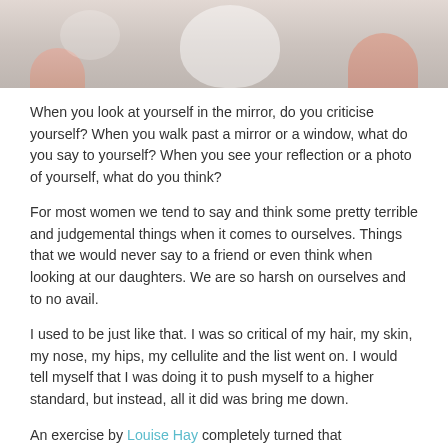[Figure (photo): Top portion of a photo showing a woman with a mirror, soft light tones, cropped at top of page]
When you look at yourself in the mirror, do you criticise yourself? When you walk past a mirror or a window, what do you say to yourself? When you see your reflection or a photo of yourself, what do you think?
For most women we tend to say and think some pretty terrible and judgemental things when it comes to ourselves. Things that we would never say to a friend or even think when looking at our daughters. We are so harsh on ourselves and to no avail.
I used to be just like that. I was so critical of my hair, my skin, my nose, my hips, my cellulite and the list went on. I would tell myself that I was doing it to push myself to a higher standard, but instead, all it did was bring me down.
An exercise by Louise Hay completely turned that